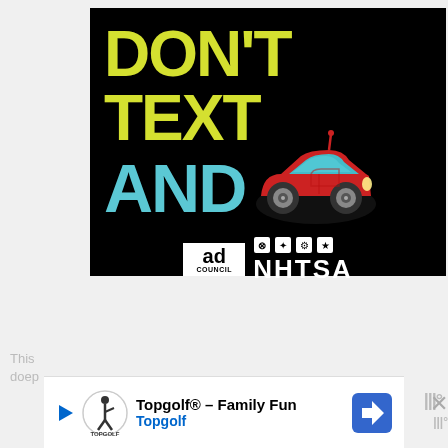[Figure (infographic): NHTSA / Ad Council public service advertisement on black background: 'DON'T TEXT AND [car emoji]' — distracted driving awareness campaign. Yellow bold text 'DON'T TEXT', cyan bold text 'AND', red cartoon car emoji. Ad Council and NHTSA logos at bottom.]
[Figure (infographic): Topgolf advertisement banner: Topgolf logo (circle with golf figure), text 'Topgolf® - Family Fun', blue 'Topgolf' subtext, blue navigation/arrow icon on right.]